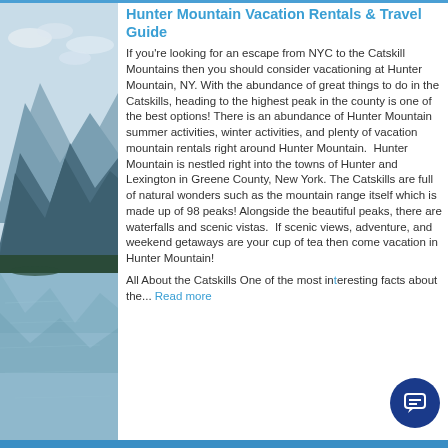[Figure (photo): A scenic photo of a mountain lake with mountains in the background under a partly cloudy sky.]
Hunter Mountain Vacation Rentals & Travel Guide
If you're looking for an escape from NYC to the Catskill Mountains then you should consider vacationing at Hunter Mountain, NY. With the abundance of great things to do in the Catskills, heading to the highest peak in the county is one of the best options! There is an abundance of Hunter Mountain summer activities, winter activities, and plenty of vacation mountain rentals right around Hunter Mountain.  Hunter Mountain is nestled right into the towns of Hunter and Lexington in Greene County, New York. The Catskills are full of natural wonders such as the mountain range itself which is made up of 98 peaks! Alongside the beautiful peaks, there are waterfalls and scenic vistas.  If scenic views, adventure, and weekend getaways are your cup of tea then come vacation in Hunter Mountain!
All About the Catskills One of the most interesting facts about the... Read more